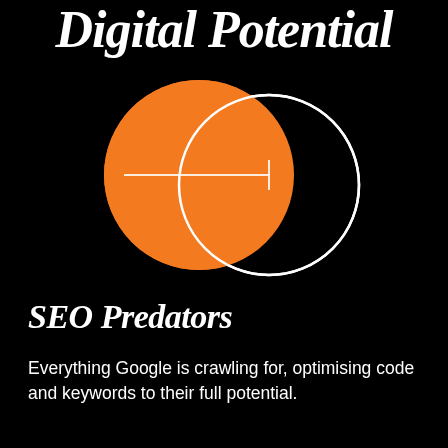Digital Potential
[Figure (illustration): Two overlapping circles (Venn diagram style) on a black background. Left circle is filled solid orange with a white horizontal line through its center. Right circle is an outline only (white stroke, black fill), partially overlapping the orange circle. The intersection area shows the orange circle's edge overlapping into the right circle outline.]
SEO Predators
Everything Google is crawling for, optimising code and keywords to their full potential.